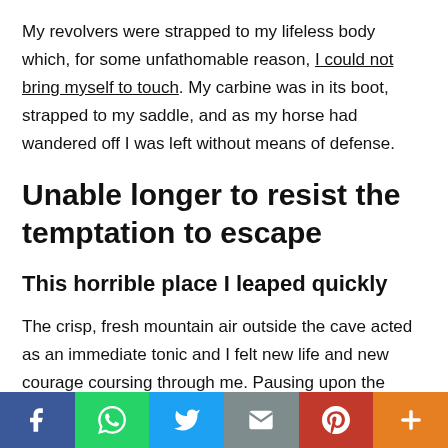My revolvers were strapped to my lifeless body which, for some unfathomable reason, I could not bring myself to touch. My carbine was in its boot, strapped to my saddle, and as my horse had wandered off I was left without means of defense.
Unable longer to resist the temptation to escape
This horrible place I leaped quickly
The crisp, fresh mountain air outside the cave acted as an immediate tonic and I felt new life and new courage coursing through me. Pausing upon the brink of the ledge I upbraided myself for what now seemed to me wholly unwarranted